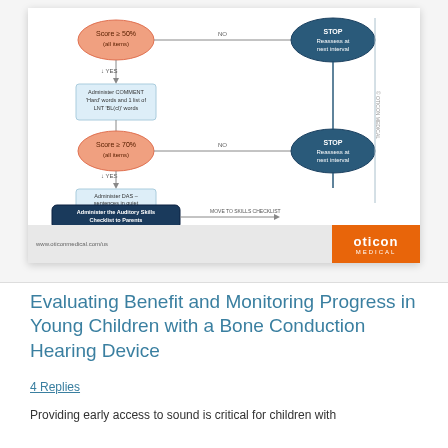[Figure (flowchart): A flowchart showing a clinical decision process for administering hearing tests to young children. Includes orange oval decision nodes labeled 'Score ≥ 50%' and 'Score ≥ 70%', rectangular action steps for administering COMMENT 'Hard' words and LNT/ESP lists, dark teal STOP nodes labeled 'Reassess at next interval', and a final step to 'Administer the Auditory Skills Checklist to Parents' with 'MOVE TO SKILLS CHECKLIST' arrow. Oticon Medical branding with orange badge and website URL at bottom.]
Evaluating Benefit and Monitoring Progress in Young Children with a Bone Conduction Hearing Device
4 Replies
Providing early access to sound is critical for children with